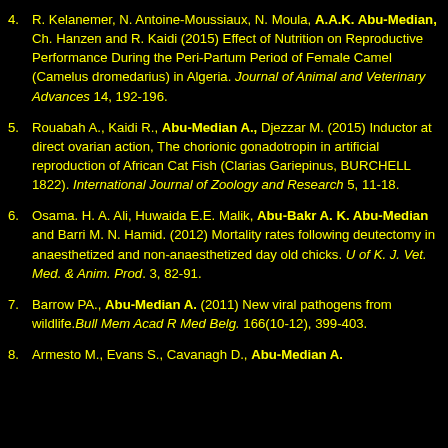R. Kelanemer, N. Antoine-Moussiaux, N. Moula, A.A.K. Abu-Median, Ch. Hanzen and R. Kaidi (2015) Effect of Nutrition on Reproductive Performance During the Peri-Partum Period of Female Camel (Camelus dromedarius) in Algeria. Journal of Animal and Veterinary Advances 14, 192-196.
Rouabah A., Kaidi R., Abu-Median A., Djezzar M. (2015) Inductor at direct ovarian action, The chorionic gonadotropin in artificial reproduction of African Cat Fish (Clarias Gariepinus, BURCHELL 1822). International Journal of Zoology and Research 5, 11-18.
Osama. H. A. Ali, Huwaida E.E. Malik, Abu-Bakr A. K. Abu-Median and Barri M. N. Hamid. (2012) Mortality rates following deutectomy in anaesthetized and non-anaesthetized day old chicks. U of K. J. Vet. Med. & Anim. Prod. 3, 82-91.
Barrow PA., Abu-Median A. (2011) New viral pathogens from wildlife. Bull Mem Acad R Med Belg. 166(10-12), 399-403.
Armesto M., Evans S., Cavanagh D., Abu-Median A.